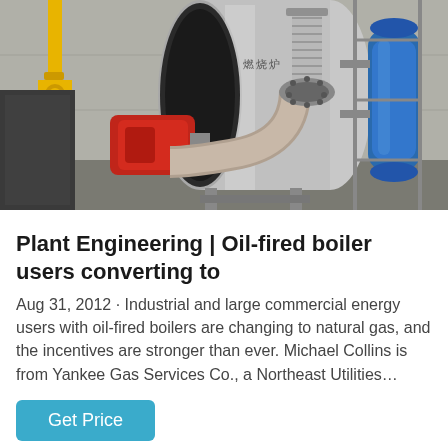[Figure (photo): Industrial gas/oil-fired boiler in a factory setting. A large cylindrical stainless steel boiler with corrugated flexible pipe connections is shown centrally. A red burner unit is attached on the left side. Yellow gas pipes run overhead on the left. Blue pressure vessels are visible on the right side. The setting appears to be a concrete industrial building.]
Plant Engineering | Oil-fired boiler users converting to
Aug 31, 2012 · Industrial and large commercial energy users with oil-fired boilers are changing to natural gas, and the incentives are stronger than ever. Michael Collins is from Yankee Gas Services Co., a Northeast Utilities…
Get Price